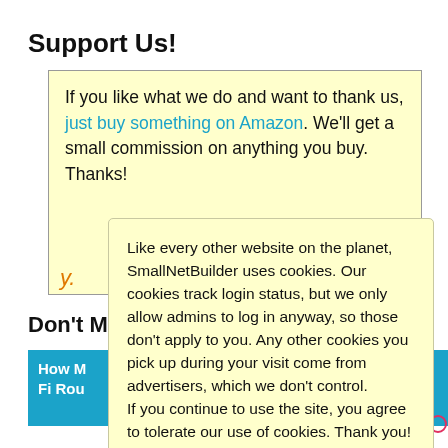Support Us!
If you like what we do and want to thank us, just buy something on Amazon. We'll get a small commission on anything you buy. Thanks!
Don't Mi[ss]
How M[uch Speed Do You Need From] [Yo]ur Wi-Fi Rou[ter]
Like every other website on the planet, SmallNetBuilder uses cookies. Our cookies track login status, but we only allow admins to log in anyway, so those don't apply to you. Any other cookies you pick up during your visit come from advertisers, which we don't control.
If you continue to use the site, you agree to tolerate our use of cookies. Thank you!